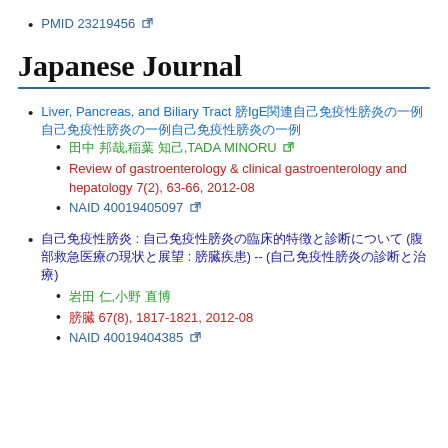PMID 23219456 [external link]
Japanese Journal
Liver, Pancreas, and Biliary Tract 膵IgE関連自己免疫性膵炎の一例 [blue link]
田中 邦哉,稲葉 知己,TADA MINORU [link]
Review of gastroenterology & clinical gastroenterology and hepatology 7(2), 63-66, 2012-08
NAID 40019405097 [external link]
自己免疫性膵炎 : 自己免疫性膵炎の臨床的特徴と診断について (腹部救急医療の現状と展望 : 膵臓疾患) -- (自己免疫性膵炎の診断と治療)
岩田 仁,小野 直博
膵臓 67(8), 1817-1821, 2012-08
NAID 40019404385 [external link]